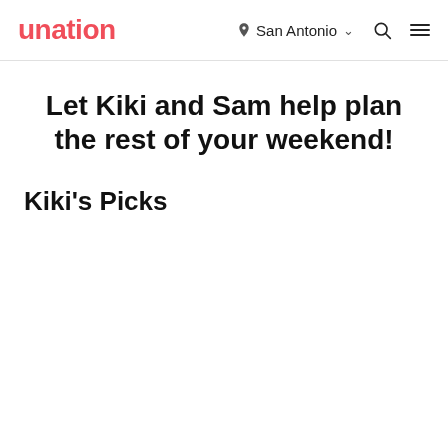unation — San Antonio
Let Kiki and Sam help plan the rest of your weekend!
Kiki's Picks